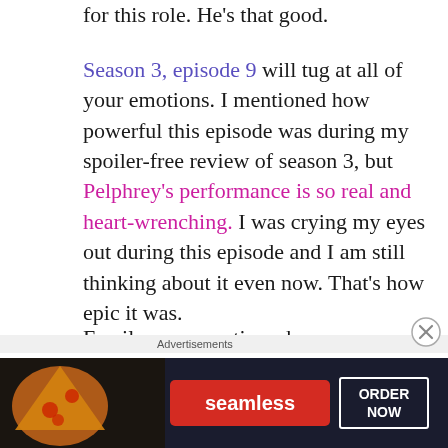for this role. He's that good.
Season 3, episode 9 will tug at all of your emotions. I mentioned how powerful this episode was during my spoiler-free review of season 3, but Pelphrey's performance is so real and heart-wrenching. I was crying my eyes out during this episode and I am still thinking about it even now. That's how epic it was.
Family can sometimes be more complicated than anything else in the world and yet we
Advertisements
[Figure (other): Seamless food delivery advertisement banner with pizza image on left, red Seamless logo in center, and ORDER NOW button on right against dark background]